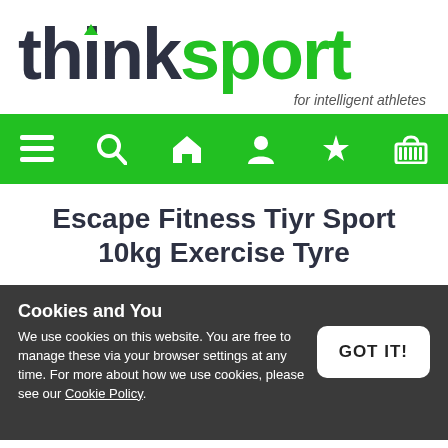[Figure (logo): thinksport logo — 'think' in dark charcoal, 'sport' in green, with a green downward-pointing triangle above the 'i'. Tagline: 'for intelligent athletes' in grey italic.]
[Figure (infographic): Green navigation bar with six white icons: hamburger menu, search/magnifying glass, home/house, person/user, magic wand/star, shopping basket.]
Escape Fitness Tiyr Sport 10kg Exercise Tyre
Cookies and You
We use cookies on this website. You are free to manage these via your browser settings at any time. For more about how we use cookies, please see our Cookie Policy.